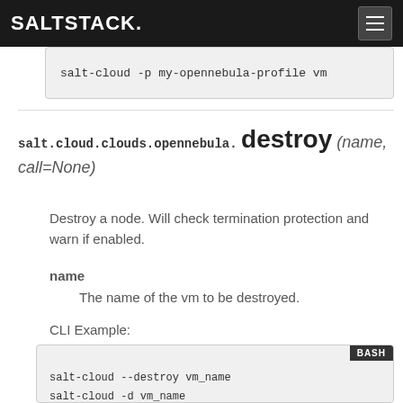SALTSTACK
salt-cloud -p my-opennebula-profile vm
salt.cloud.clouds.opennebula. destroy (name, call=None)
Destroy a node. Will check termination protection and warn if enabled.
name
The name of the vm to be destroyed.
CLI Example:
salt-cloud --destroy vm_name
salt-cloud -d vm_name
salt-cloud --action destroy vm_name
salt-cloud -a destroy vm_name